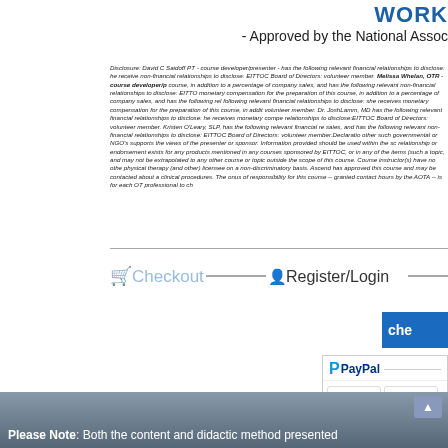WORK
- Approved by the National Assoc
Disclosure: David C Saidoff PT - course developer/presenter - has the following relevant financial relationships to disclose: he receive non-financial relationships to disclose: EITTOC Board of Directors: volunteer member. Melissa Whelan, OTR - course developer/p course, in addition to a percentage of company sales, and has the following relevant non-financial relationships to disclose: EITTO monetary compensation for the preparation of this course, in addition to a percentage of company sales, and has the following rel following relevant financial relationships to disclose: she receives monetary compensation for the preparation of this course, in addit volunteer member. Dr. JoshLamm, MD has the following relevant financial relationships to disclose: he receives monetary compe relationships to disclose:EITTOC Board of Directors: volunteer member. Kristen O'Leary, SLP, has the following relevant financial re sales, and has the following relevant non-financial relationships to disclose: EITTOC Board of Directors: volunteer member.Declaratio other such governmental or NGO's supports the views of the presenter or sponsor. Information provided should be used within the sc relationship or endorsement exists for any products mentioned in any courses sponsored by EITTOC, or in any of the items (such a topic, and may not be extrapolated to any other course or topic outside the scope of this course. Course instructor(s) have no othe physical therapy (and other) licensee on a non-discriminatory basis. Ascend has approved this course and may be contacted about a clinical procedures. The onus of responsibility for this course -- granted contact hours by the AOTA -- is for each OT professional to ch
[Figure (infographic): Checkout and Register/Login navigation bar with icons and connecting lines]
[Figure (screenshot): Blue checkout button partially visible]
[Figure (screenshot): PayPal payment box showing PayPal logo, VISA and MasterCard logos]
You must have Adobe Flash 9 or Adobe Reader 9.1 to view th
Please Note: Both the content and didactic method presented